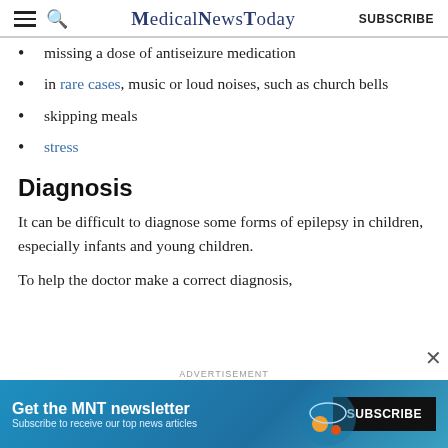MedicalNewsToday | SUBSCRIBE
missing a dose of antiseizure medication
in rare cases, music or loud noises, such as church bells
skipping meals
stress
Diagnosis
It can be difficult to diagnose some forms of epilepsy in children, especially infants and young children.
To help the doctor make a correct diagnosis,